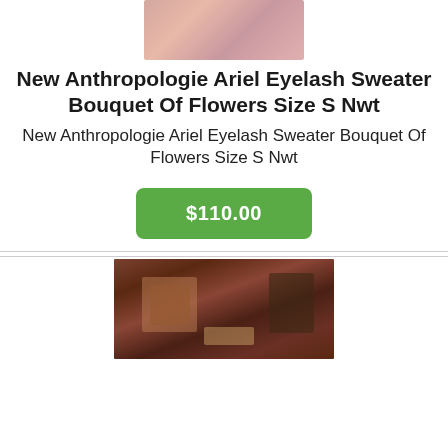[Figure (photo): Product photo of a person wearing the Anthropologie Ariel Eyelash Sweater with floral/bouquet pattern, cropped at top]
New Anthropologie Ariel Eyelash Sweater Bouquet Of Flowers Size S Nwt
New Anthropologie Ariel Eyelash Sweater Bouquet Of Flowers Size S Nwt
$110.00
[Figure (photo): Dark brown/brick background with vintage-style labels or books visible, partially cropped]